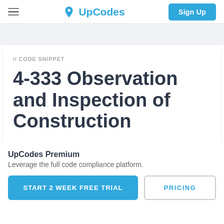UpCodes — Sign Up
// CODE SNIPPET
4-333 Observation and Inspection of Construction
UpCodes Premium
Leverage the full code compliance platform.
START 2 WEEK FREE TRIAL
PRICING